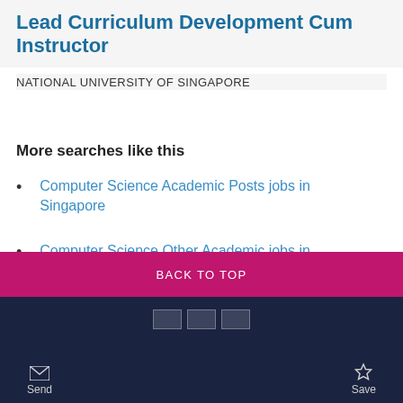Lead Curriculum Development Cum Instructor
NATIONAL UNIVERSITY OF SINGAPORE
More searches like this
Computer Science Academic Posts jobs in Singapore
Computer Science Other Academic jobs in Singapore
BACK TO TOP
Send  Save